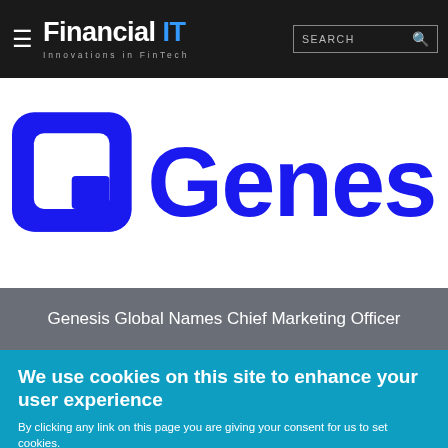Financial IT — Innovations in FinTech | SEARCH
[Figure (logo): Genesis Global company logo — large blue stylized G icon followed by the word 'Genesis' in bold blue text]
Genesis Global Names Chief Marketing Officer
We use cookies on this site to enhance your user experience
By clicking any link on this page you are giving your consent for us to set cookies. No, give me more info
OK, I agree